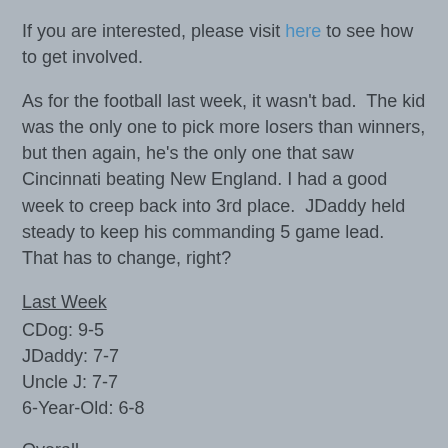If you are interested, please visit here to see how to get involved.
As for the football last week, it wasn't bad.  The kid was the only one to pick more losers than winners, but then again, he's the only one that saw Cincinnati beating New England.  I had a good week to creep back into 3rd place.  JDaddy held steady to keep his commanding 5 game lead.  That has to change, right?
Last Week
CDog: 9-5
JDaddy: 7-7
Uncle J: 7-7
6-Year-Old: 6-8
Overall
JDaddy: 43-32-2
6-Year-Old: 38-37-2
CDog: 35-40-2
Uncle J: 34-41-2